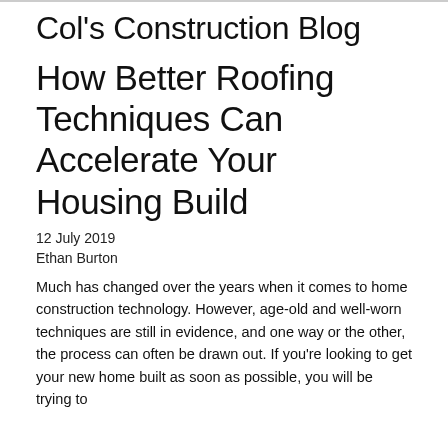Col's Construction Blog
How Better Roofing Techniques Can Accelerate Your Housing Build
12 July 2019
Ethan Burton
Much has changed over the years when it comes to home construction technology. However, age-old and well-worn techniques are still in evidence, and one way or the other, the process can often be drawn out. If you're looking to get your new home built as soon as possible, you will be trying to